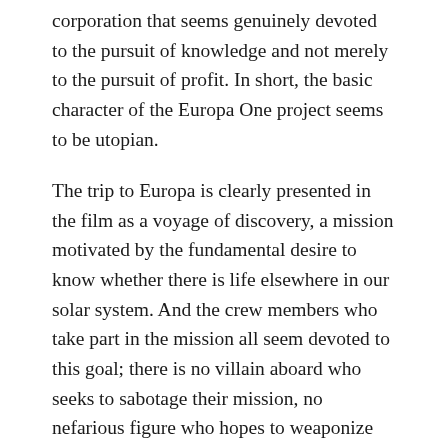corporation that seems genuinely devoted to the pursuit of knowledge and not merely to the pursuit of profit. In short, the basic character of the Europa One project seems to be utopian.
The trip to Europa is clearly presented in the film as a voyage of discovery, a mission motivated by the fundamental desire to know whether there is life elsewhere in our solar system. And the crew members who take part in the mission all seem devoted to this goal; there is no villain aboard who seeks to sabotage their mission, no nefarious figure who hopes to weaponize their discoveries in order to benefit a rogue government or a predatory corporation. In addition, there is very little tension or disagreement among the